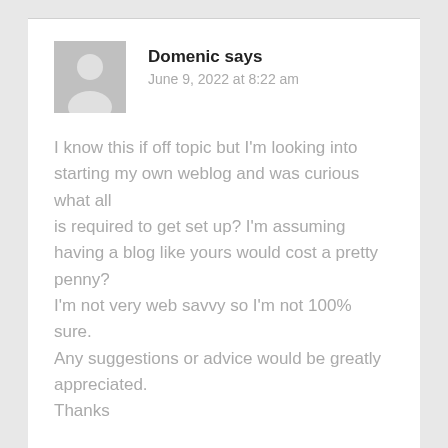Domenic says
June 9, 2022 at 8:22 am
I know this if off topic but I'm looking into starting my own weblog and was curious what all is required to get set up? I'm assuming having a blog like yours would cost a pretty penny? I'm not very web savvy so I'm not 100% sure. Any suggestions or advice would be greatly appreciated.
Thanks
Reply